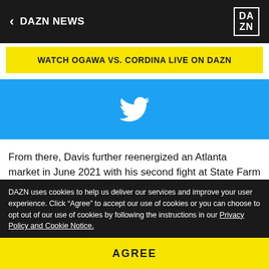DAZN NEWS
WATCH OGAWA VS. CORDINA LIVE ON DAZN
[Figure (screenshot): Twitter bird logo on blue background]
From there, Davis further reenergized an Atlanta market in June 2021 with his second fight at State Farm Arena, where he crushed Mario Barrios via 11th-round TKO to become the WBA "regular" super lightweight champion of the world. The victory also made him a three-division world champ.
DAZN uses cookies to help us deliver our services and improve your user experience. Click “Agree” to accept our use of cookies or you can choose to opt out of our use of cookies by following the instructions in our Privacy Policy and Cookie Notice.
AGREE